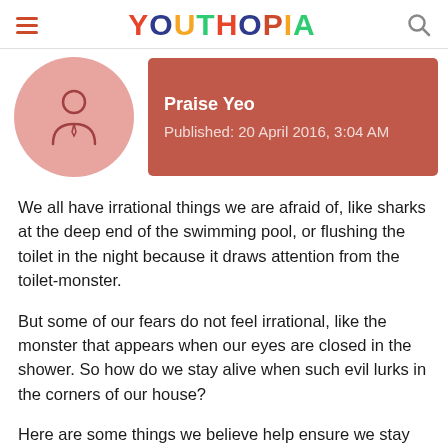YOUTHOPIA
[Figure (illustration): Author avatar placeholder icon showing a person silhouette inside a pink circle]
Praise Yeo
Published: 20 April 2016, 3:04 AM
We all have irrational things we are afraid of, like sharks at the deep end of the swimming pool, or flushing the toilet in the night because it draws attention from the toilet-monster.
But some of our fears do not feel irrational, like the monster that appears when our eyes are closed in the shower. So how do we stay alive when such evil lurks in the corners of our house?
Here are some things we believe help ensure we stay alive to...